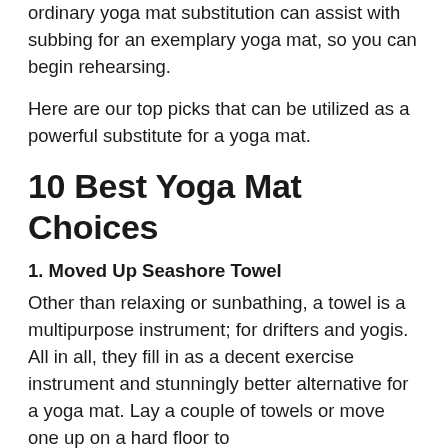ordinary yoga mat substitution can assist with subbing for an exemplary yoga mat, so you can begin rehearsing.
Here are our top picks that can be utilized as a powerful substitute for a yoga mat.
10 Best Yoga Mat Choices
1. Moved Up Seashore Towel
Other than relaxing or sunbathing, a towel is a multipurpose instrument; for drifters and yogis. All in all, they fill in as a decent exercise instrument and stunningly better alternative for a yoga mat. Lay a couple of towels or move one up on a hard floor to